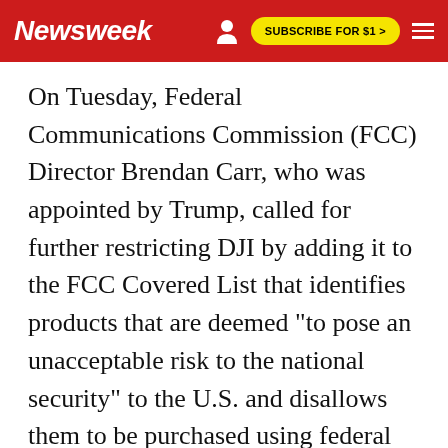Newsweek | SUBSCRIBE FOR $1 >
On Tuesday, Federal Communications Commission (FCC) Director Brendan Carr, who was appointed by Trump, called for further restricting DJI by adding it to the FCC Covered List that identifies products that are deemed "to pose an unacceptable risk to the national security" to the U.S. and disallows them to be purchased using federal dollars.
"DJI drones and the surveillance technology on board these systems are collecting vast